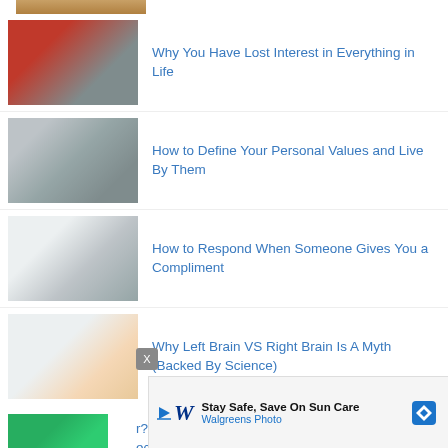[Figure (photo): Partial top image, cropped article thumbnail]
[Figure (photo): Person sleeping or lying down in red clothing]
Why You Have Lost Interest in Everything in Life
[Figure (photo): Person reflected in glass window, thoughtful]
How to Define Your Personal Values and Live By Them
[Figure (photo): Woman sitting at desk on phone with laptop]
How to Respond When Someone Gives You a Compliment
[Figure (photo): Baby looking up at camera]
Why Left Brain VS Right Brain Is A Myth (Backed By Science)
[Figure (photo): Partial bottom left thumbnail with green background, food item]
r? 19
ecipes
[Figure (other): Walgreens advertisement banner: Stay Safe, Save On Sun Care - Walgreens Photo]